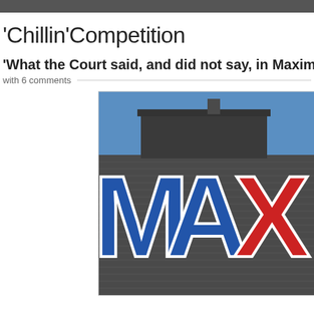Chillin'Competition
What the Court said, and did not say, in Maxima
with 6 comments
[Figure (photo): Exterior photo of a Maxi retail store showing large blue and red letters spelling MAXI on a grey corrugated metal building facade under a blue sky.]